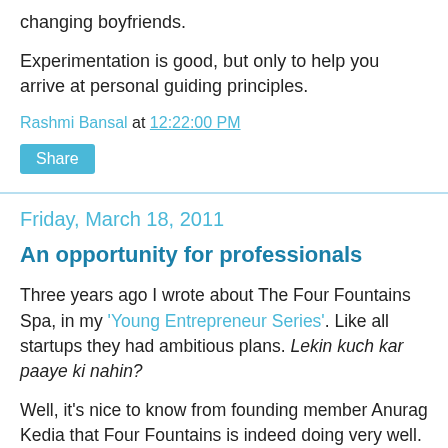changing boyfriends.
Experimentation is good, but only to help you arrive at personal guiding principles.
Rashmi Bansal at 12:22:00 PM
Share
Friday, March 18, 2011
An opportunity for professionals
Three years ago I wrote about The Four Fountains Spa, in my 'Young Entrepreneur Series'. Like all startups they had ambitious plans. Lekin kuch kar paaye ki nahin?
Well, it's nice to know from founding member Anurag Kedia that Four Fountains is indeed doing very well. From 2 spas back in 2008 (both in Pune), they've expanded to 11 spas across 6 cities (Mumbai, Pune, Goa, Manali, Bhopal & Aurangabad).